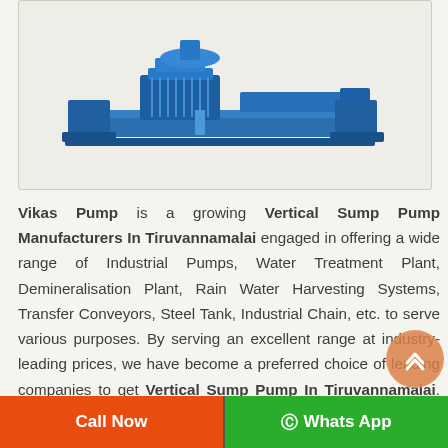[Figure (photo): Blue vertical sump pump shown from a side-angled view against a light beige background, inside a bordered product image box.]
Vikas Pump is a growing Vertical Sump Pump Manufacturers In Tiruvannamalai engaged in offering a wide range of Industrial Pumps, Water Treatment Plant, Demineralisation Plant, Rain Water Harvesting Systems, Transfer Conveyors, Steel Tank, Industrial Chain, etc. to serve various purposes. By serving an excellent range at industry-leading prices, we have become a preferred choice of leading companies to get Vertical Sump Pump In Tiruvannamalai. We stand behind our
Call Now | Whats App